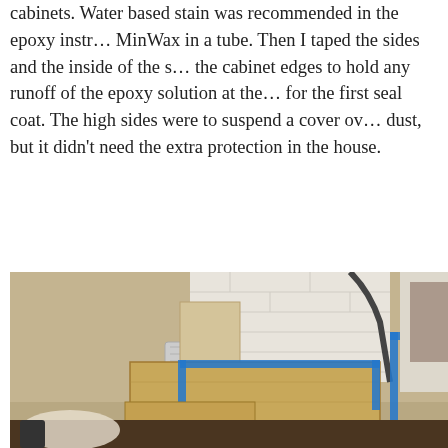cabinets. Water based stain was recommended in the epoxy instr… MinWax in a tube. Then I taped the sides and the inside of the s… the cabinet edges to hold any runoff of the epoxy solution at the… for the first seal coat. The high sides were to suspend a cover ov… dust, but it didn't need the extra protection in the house.
[Figure (photo): Indoor photo of wooden countertop or cabinet structure with blue painter's tape applied along the edges, sitting in a room with tan/beige walls and a white brick or panel background. Tools and materials visible on the floor.]